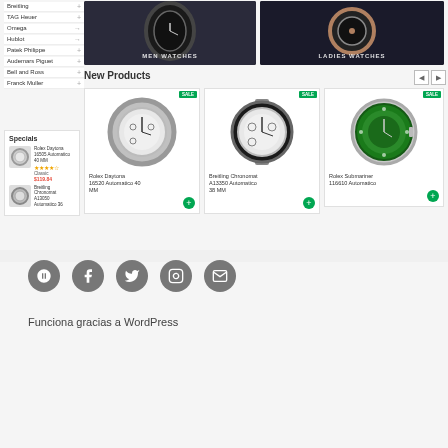Breitling
TAG Heuer
Omega
Hublot
Patek Philippe
Audemars Piguet
Bell and Ross
Franck Muller
[Figure (photo): Hero banner showing men's watches with dark background and wrist watch]
[Figure (photo): Hero banner showing ladies watches with dark background and bracelet watch]
New Products
Specials
[Figure (photo): Specials: Rolex Daytona 16505 Automatico 40 MM with star rating and price $119.84]
[Figure (photo): Specials: Breitling Chronomat A13050 Automatico 36]
[Figure (photo): Product: Rolex Daytona 16520 Automatico 40 MM with SALE badge]
[Figure (photo): Product: Breitling Chronomat A13350 Automatico with SALE badge]
[Figure (photo): Product: Rolex Submariner 116610 Automatico with SALE badge, green bezel]
Rolex Daytona 16520 Automatico 40 MM
Breitling Chronomat A13350 Automatico 38 MM
Rolex Submariner 116610 Automatico
[Figure (other): Social media icons: Yelp, Facebook, Twitter, Instagram, Email]
Funciona gracias a WordPress